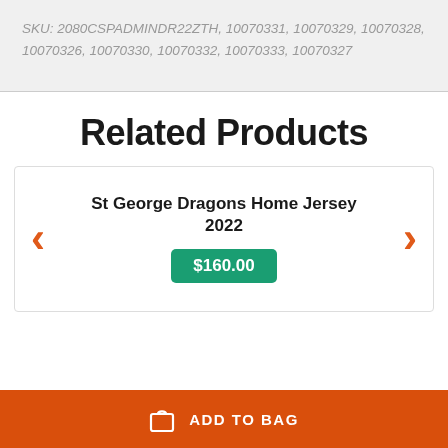SKU: 2080CSPADMINDR22ZTH, 10070331, 10070329, 10070328, 10070326, 10070330, 10070332, 10070333, 10070327
Related Products
St George Dragons Home Jersey 2022
$160.00
ADD TO BAG